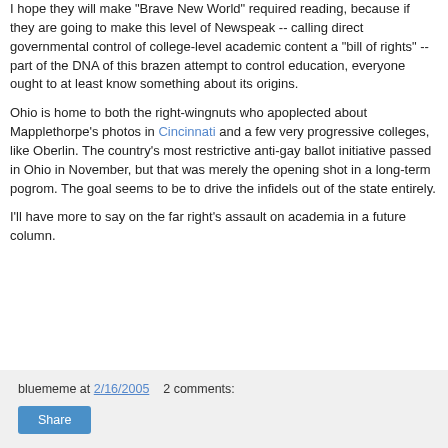I hope they will make "Brave New World" required reading, because if they are going to make this level of Newspeak -- calling direct governmental control of college-level academic content a "bill of rights" -- part of the DNA of this brazen attempt to control education, everyone ought to at least know something about its origins.
Ohio is home to both the right-wingnuts who apoplected about Mapplethorpe's photos in Cincinnati and a few very progressive colleges, like Oberlin. The country's most restrictive anti-gay ballot initiative passed in Ohio in November, but that was merely the opening shot in a long-term pogrom. The goal seems to be to drive the infidels out of the state entirely.
I'll have more to say on the far right's assault on academia in a future column.
bluememe at 2/16/2005   2 comments:   Share